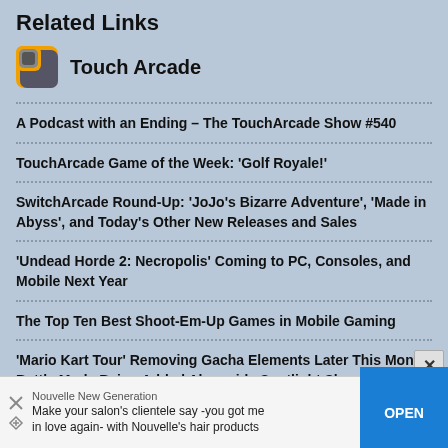Related Links
Touch Arcade
A Podcast with an Ending – The TouchArcade Show #540
TouchArcade Game of the Week: ‘Golf Royale!’
SwitchArcade Round-Up: ‘JoJo’s Bizarre Adventure’, ‘Made in Abyss’, and Today’s Other New Releases and Sales
‘Undead Horde 2: Necropolis’ Coming to PC, Consoles, and Mobile Next Year
The Top Ten Best Shoot-Em-Up Games in Mobile Gaming
‘Mario Kart Tour’ Removing Gacha Elements Later This Month, Battle Mode Being Added Alongside Spotlight Shop
Tom Hanks’ Hanx101 Trivia Is Out Now on Apple Arcade Alongside Big Updates to Oceanhorn, Card of Darkness, Sp!ng, Cake Bash, Pinball Wizard, and More
Nouvelle New Generation
Make your salon's clientele say -you got me in love again- with Nouvelle's hair products